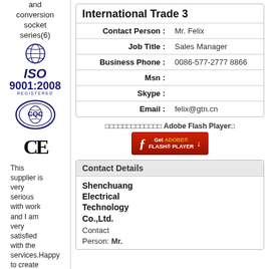and conversion socket series(6)
[Figure (logo): ISO 9001:2008 REGISTERED logo with globe]
[Figure (logo): CQC certification logo]
[Figure (logo): CE mark]
This supplier is very serious with work and I am very satisfied with the services.Happy to create long term business...
|  | International Trade 3 |
| --- | --- |
| Contact Person : | Mr. Felix |
| Job Title : | Sales Manager |
| Business Phone : | 0086-577-2777 8866 |
| Msn : |  |
| Skype : |  |
| Email : | felix@gtn.cn |
[Figure (screenshot): Adobe Flash Player download button with red flash icon and Get ADOBE FLASH PLAYER text]
Contact Details
Shenchuang Electrical Technology Co.,Ltd.
Contact Person: Mr.